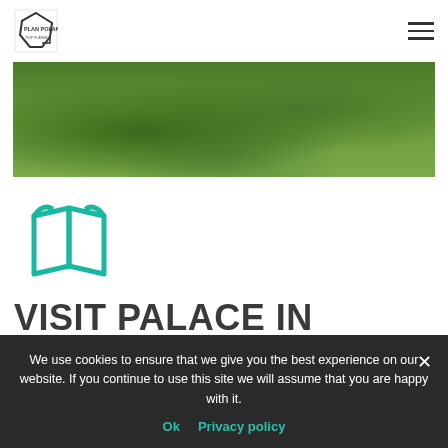Plan Poland logo and navigation hamburger menu
[Figure (photo): Green landscape/grass aerial view photograph]
[Figure (illustration): Teal/turquoise open map book icon]
VISIT PALACE IN WILANÓW
We use cookies to ensure that we give you the best experience on our website. If you continue to use this site we will assume that you are happy with it.
Ok  Privacy policy